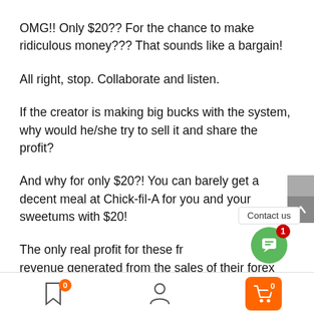OMG!! Only $20?? For the chance to make ridiculous money??? That sounds like a bargain!
All right, stop. Collaborate and listen.
If the creator is making big bucks with the system, why would he/she try to sell it and share the profit?
And why for only $20?! You can barely get a decent meal at Chick-fil-A for you and your sweetums with $20!
The only real profit for these fr[audsters] is revenue generated from the sales of their forex "Ro[bots]."